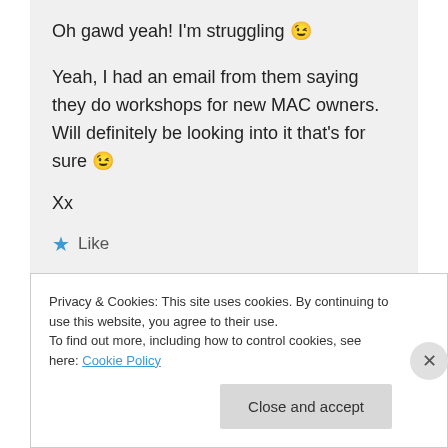Oh gawd yeah! I'm struggling 😉
Yeah, I had an email from them saying they do workshops for new MAC owners. Will definitely be looking into it that's for sure 😉
Xx
★ Like
Privacy & Cookies: This site uses cookies. By continuing to use this website, you agree to their use.
To find out more, including how to control cookies, see here: Cookie Policy